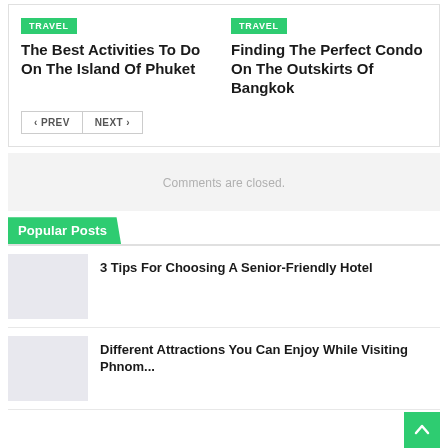TRAVEL
The Best Activities To Do On The Island Of Phuket
TRAVEL
Finding The Perfect Condo On The Outskirts Of Bangkok
< PREV  NEXT >
Comments are closed.
Popular Posts
[Figure (photo): Thumbnail image placeholder]
3 Tips For Choosing A Senior-Friendly Hotel
[Figure (photo): Thumbnail image placeholder]
Different Attractions You Can Enjoy While Visiting Phnom...